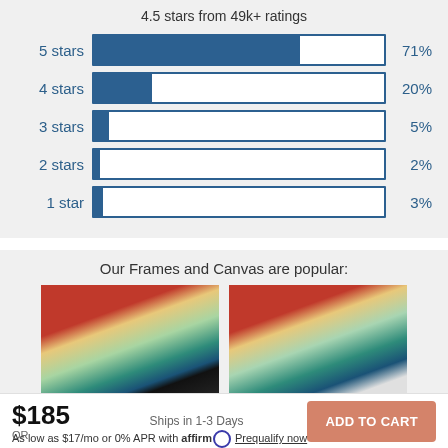4.5 stars from 49k+ ratings
[Figure (bar-chart): Star ratings distribution]
Our Frames and Canvas are popular:
[Figure (photo): Two product photos showing framed print and canvas print of colorful abstract artwork]
$185
OR
Ships in 1-3 Days
ADD TO CART
As low as $17/mo or 0% APR with affirm Prequalify now